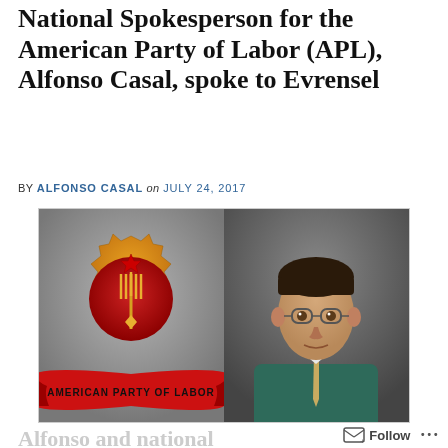National Spokesperson for the American Party of Labor (APL), Alfonso Casal, spoke to Evrensel
BY ALFONSO CASAL on JULY 24, 2017
[Figure (photo): Left half shows the American Party of Labor logo (red gear with gold wheat and star, red banner reading AMERICAN PARTY OF LABOR). Right half shows a portrait photo of Alfonso Casal, a man with glasses, dark hair, wearing a teal suit and gold tie.]
Alfonso and national